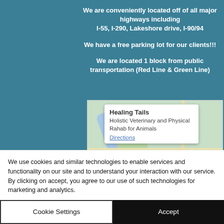We are conveniently located off of all major highways including I-55, I-290, Lakeshore drive, I-90/94
We have a free parking lot for our clients!!!
We are located 1 block from public transportation (Red Line & Green Line)
[Figure (screenshot): Google Maps screenshot showing a map popup for Healing Tails Holistic Veterinary and Physical Rahab for Animals with a Directions link and a red location pin on the map.]
We use cookies and similar technologies to enable services and functionality on our site and to understand your interaction with our service. By clicking on accept, you agree to our use of such technologies for marketing and analytics.
Cookie Settings
Accept